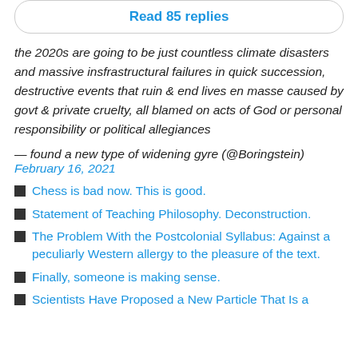Read 85 replies
the 2020s are going to be just countless climate disasters and massive insfrastructural failures in quick succession, destructive events that ruin & end lives en masse caused by govt & private cruelty, all blamed on acts of God or personal responsibility or political allegiances
— found a new type of widening gyre (@Boringstein) February 16, 2021
Chess is bad now. This is good.
Statement of Teaching Philosophy. Deconstruction.
The Problem With the Postcolonial Syllabus: Against a peculiarly Western allergy to the pleasure of the text.
Finally, someone is making sense.
Scientists Have Proposed a New Particle That Is a